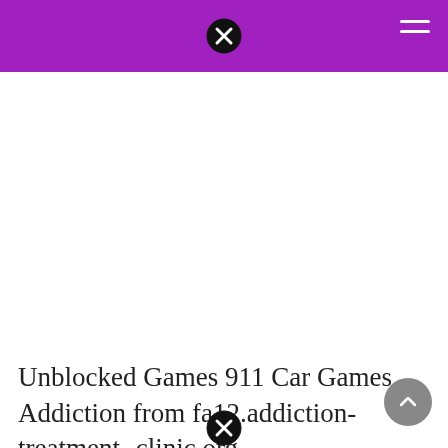Unblocked Games 911 Car Games Addiction from fa12.addiction-treatment-clinic.org